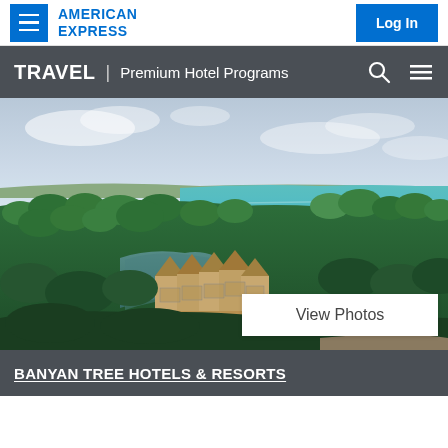AMERICAN EXPRESS | Log In
TRAVEL | Premium Hotel Programs
[Figure (photo): Aerial view of a luxury overwater resort with thatched-roof bungalows built over a lagoon, surrounded by lush green mangroves, with a white sand beach and turquoise Caribbean sea in the background.]
View Photos
BANYAN TREE HOTELS & RESORTS